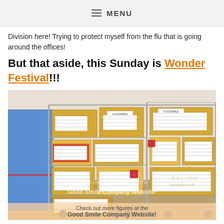MENU
Division here! Trying to protect myself from the flu that is going around the offices!
But that aside, this Sunday is Wonder Festival!!!
[Figure (photo): Photo of multiple metal cage trolleys stacked high with cardboard boxes labeled with Japanese text and GOODSMILE branding, ready for Wonder Festival. A large blue mesh-wrapped pallet is visible on the left.]
Check out more figures at the Good Smile Company Website!